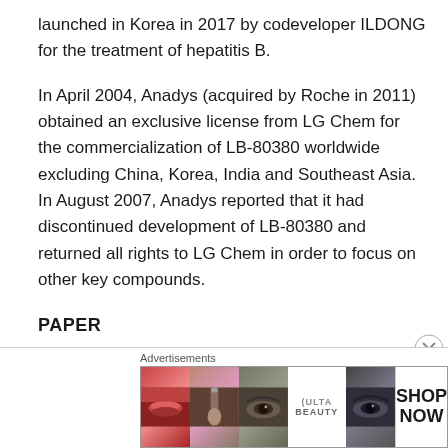launched in Korea in 2017 by codeveloper ILDONG for the treatment of hepatitis B.

In April 2004, Anadys (acquired by Roche in 2011) obtained an exclusive license from LG Chem for the commercialization of LB-80380 worldwide excluding China, Korea, India and Southeast Asia. In August 2007, Anadys reported that it had discontinued development of LB-80380 and returned all rights to LG Chem in order to focus on other key compounds.
PAPER
A Novel Class of Phosphonate
[Figure (other): Advertisement banner for ULTA beauty showing cosmetic imagery including lips, makeup brush, eye, ULTA logo, and eye with SHOP NOW text]